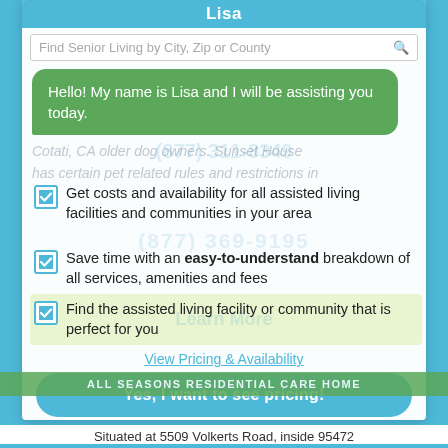Lisa
Find Senior Living by City, Zip or County
Hello! My name is Lisa and I will be assisting you today.
Cotati, CA older dog owners. Sunset House has certain pet related rules and restrictions in place.
Get costs and availability for all assisted living facilities and communities in your area
Save time with an easy-to-understand breakdown of all services, amenities and fees
Find the assisted living facility or community that is perfect for you
View Pricing & Availability
Yes, I want to see pricing!
Or call (877) 663-0047
ALL SEASONS RESIDENTIAL CARE HOME
Situated at 5509 Volkerts Road, inside 95472